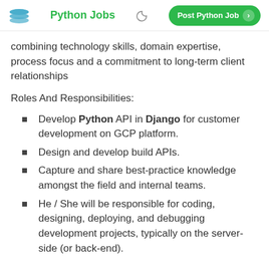Python Jobs | Post Python Job
combining technology skills, domain expertise, process focus and a commitment to long-term client relationships
Roles And Responsibilities:
Develop Python API in Django for customer development on GCP platform.
Design and develop build APIs.
Capture and share best-practice knowledge amongst the field and internal teams.
He / She will be responsible for coding, designing, deploying, and debugging development projects, typically on the server-side (or back-end).